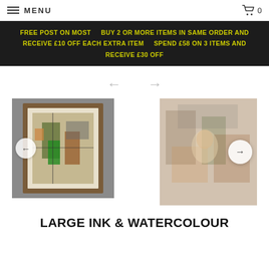MENU  0
FREE POST ON MOST   BUY 2 OR MORE ITEMS IN SAME ORDER AND RECEIVE £10 OFF EACH EXTRA ITEM   SPEND £58 ON 3 ITEMS AND RECEIVE £30 OFF
[Figure (photo): Framed ink and watercolour artwork showing figures, displayed on a grey wall. Left arrow navigation circle visible on left side.]
[Figure (photo): Close-up detail of same or similar artwork, faded/washed look with right arrow navigation circle.]
LARGE INK & WATERCOLOUR